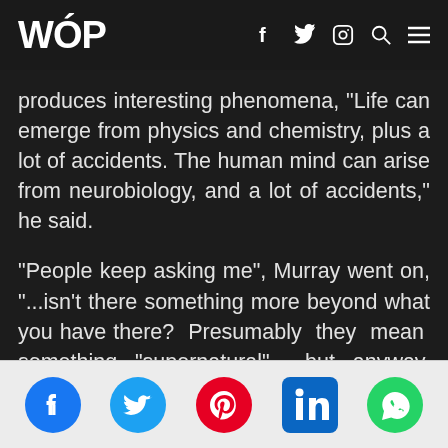WOP
produces interesting phenomena, "Life can emerge from physics and chemistry, plus a lot of accidents. The human mind can arise from neurobiology, and a lot of accidents," he said.
"People keep asking me", Murray went on, "...isn't there something more beyond what you have there? Presumably they mean something "supernatural" but anyway, there isn't; you don't need something more to explain something more."
Social share icons: Facebook, Twitter, Pinterest, LinkedIn, WhatsApp